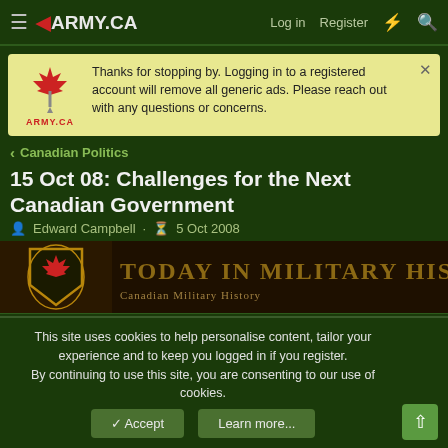ARMY.CA — Log in | Register
Thanks for stopping by. Logging in to a registered account will remove all generic ads. Please reach out with any questions or concerns.
< Canadian Politics
15 Oct 08: Challenges for the Next Canadian Government
Edward Campbell · 5 Oct 2008
[Figure (illustration): TODAY IN MILITARY HISTORY banner with Canadian maple leaf shield logo]
Edward Campbell
This site uses cookies to help personalise content, tailor your experience and to keep you logged in if you register. By continuing to use this site, you are consenting to our use of cookies.